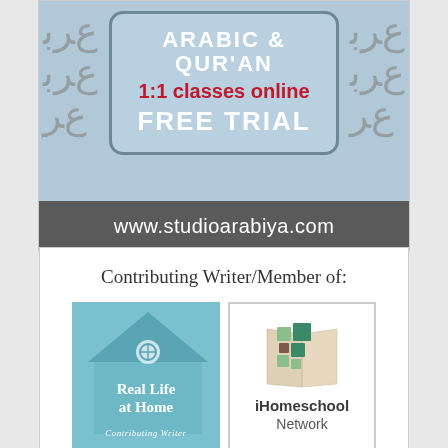[Figure (illustration): Advertisement banner for Studio Arabiya showing Arabic and Quran 1:1 classes online with FREE TRIAL offer, with website www.studioarabiya.com]
Contributing Writer/Member of:
[Figure (logo): Real Life at Home - Contributing Writer logo with house illustration in teal/blue]
[Figure (logo): iHomeschool Network logo with colored squares and book graphic]